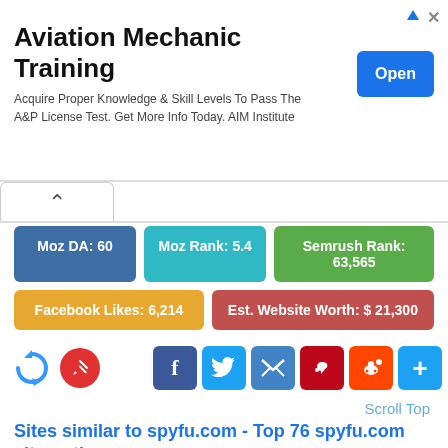[Figure (screenshot): Advertisement banner for Aviation Mechanic Training with Open button]
Aviation Mechanic Training
Acquire Proper Knowledge & Skill Levels To Pass The A&P License Test. Get More Info Today. AIM Institute
[Figure (infographic): Website metrics badges: Moz DA: 60, Moz Rank: 5.4, Semrush Rank: 63,565, Facebook Likes: 6,214, Est. Website Worth: $21,300]
[Figure (infographic): Social sharing icons: Facebook, Twitter, Email, Pinterest, Reddit, Plus]
Scroll Top
Sites similar to spyfu.com - Top 76 spyfu.com alternatives
[Figure (screenshot): Thumbnail preview of KWFinder / Mangools website]